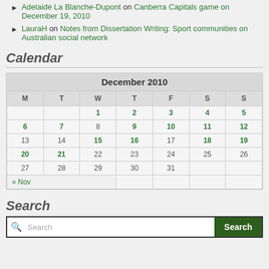Adelaide La Blanche-Dupont on Canberra Capitals game on December 19, 2010
LauraH on Notes from Dissertation Writing: Sport communities on Australian social network
Calendar
| M | T | W | T | F | S | S |
| --- | --- | --- | --- | --- | --- | --- |
|  |  | 1 | 2 | 3 | 4 | 5 |
| 6 | 7 | 8 | 9 | 10 | 11 | 12 |
| 13 | 14 | 15 | 16 | 17 | 18 | 19 |
| 20 | 21 | 22 | 23 | 24 | 25 | 26 |
| 27 | 28 | 29 | 30 | 31 |  |  |
| « Nov |  |  |  |  |  |  |
Search
Search